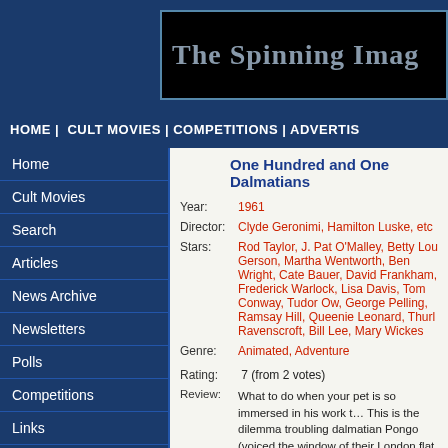The Spinning Image
HOME | CULT MOVIES | COMPETITIONS | ADVERTISE
Home
Cult Movies
Search
Articles
News Archive
Newsletters
Polls
Competitions
Links
Advertise
One Hundred and One Dalmatians
Year: 1961
Director: Clyde Geronimi, Hamilton Luske, etc
Stars: Rod Taylor, J. Pat O'Malley, Betty Lou Gerson, Martha Wentworth, Ben Wright, Cate Bauer, David Frankham, Frederick Warlock, Lisa Davis, Tom Conway, Tudor Ow, George Pelling, Ramsay Hill, Queenie Leonard, Thurl Ravenscroft, Bill Lee, Mary Wickes
Genre: Animated, Adventure
Rating: 7 (from 2 votes)
Review: What to do when your pet is so immersed in his work that he won't take you out? This is the dilemma troubling dalmatian Pongo (voiced by Rod Taylor), who gazes out the window of their London flat, while his pet Roger (Ben Wright), is a songwriter who has yet to make a hit. However, when Pongo notices a woman walking a dalmatian he realises they would both be perfect friends for their owners and arranges that they meet up in the park. All goes well, and soon Roger and Anita are married with Pongo and his new mate, Perdita (Cate Bauer) expecting puppies. Nothing should interrupt this idyll...